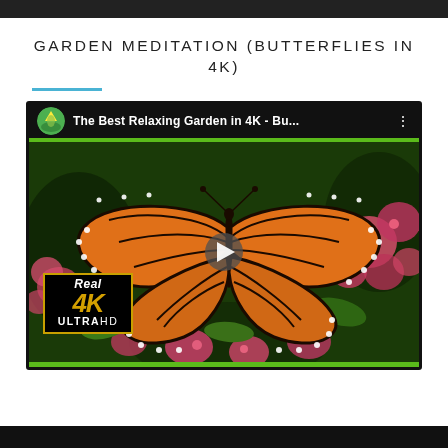GARDEN MEDITATION (BUTTERFLIES IN 4K)
[Figure (screenshot): YouTube video thumbnail showing a monarch butterfly on pink flowers. Video title reads 'The Best Relaxing Garden in 4K - Bu...' with channel logo. Real 4K UltraHD badge in bottom left. Green border around video, black header and footer bars.]